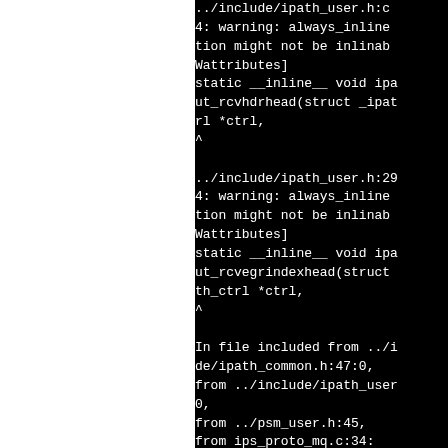[Figure (screenshot): Terminal/compiler output showing warning messages about always_inline functions that might not be inlinable (Wattributes), related to ipath_user.h and ipath_byteorder headers. Black background with white monospace text.]